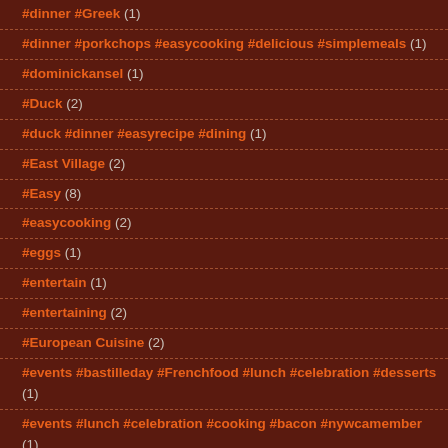#dinner #Greek (1)
#dinner #porkchops #easycooking #delicious #simplemeals (1)
#dominickansel (1)
#Duck (2)
#duck #dinner #easyrecipe #dining (1)
#East Village (2)
#Easy (8)
#easycooking (2)
#eggs (1)
#entertain (1)
#entertaining (2)
#European Cuisine (2)
#events #bastilleday #Frenchfood #lunch #celebration #desserts (1)
#events #lunch #celebration #cooking #bacon #nywcamember (1)
#Fast food (2)
#fast-food (1)
#festive (2)
#FI-DI (1)